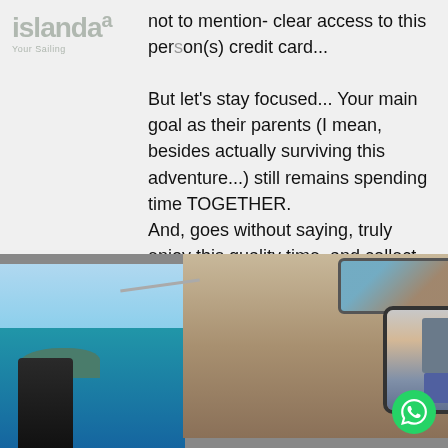[Figure (logo): islandsaa logo - 'Your Sailing...' tagline in light gray]
not to mention- clear access to this person(s) credit card... But let's stay focused... Your main goal as their parents (I mean, besides actually surviving this adventure...) still remains spending time TOGETHER. And, goes without saying, truly enjoy this quality time, and collect many memories for the next generations.
[Figure (photo): Interior of a sailing yacht showing the cabin view with windows looking out to blue sea and island, a square monitor/mirror mounted showing reflection, and a dark-clad person visible in the foreground. A WhatsApp chat bubble icon appears bottom right.]